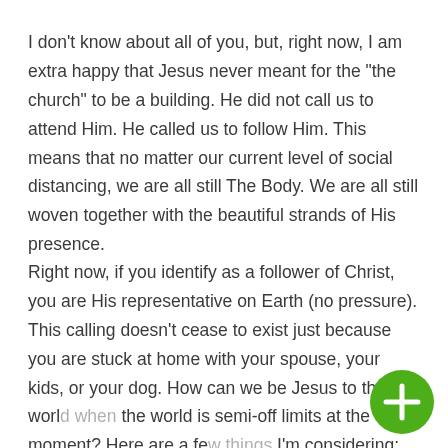I don't know about all of you, but, right now, I am extra happy that Jesus never meant for the "the church" to be a building. He did not call us to attend Him. He called us to follow Him. This means that no matter our current level of social distancing, we are all still The Body. We are all still woven together with the beautiful strands of His presence.
Right now, if you identify as a follower of Christ, you are His representative on Earth (no pressure). This calling doesn't cease to exist just because you are stuck at home with your spouse, your kids, or your dog. How can we be Jesus to the worl... the world is semi-off limits at the moment? Here are a fe... I'm considering:
[Figure (other): Green circular floating action button with a white plus (+) sign in the center, positioned in the bottom-right corner of the page.]